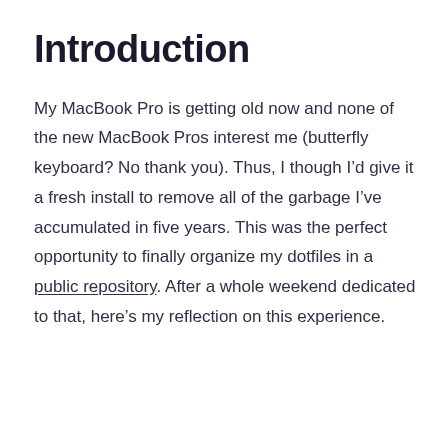Introduction
My MacBook Pro is getting old now and none of the new MacBook Pros interest me (butterfly keyboard? No thank you). Thus, I though I’d give it a fresh install to remove all of the garbage I’ve accumulated in five years. This was the perfect opportunity to finally organize my dotfiles in a public repository. After a whole weekend dedicated to that, here’s my reflection on this experience.